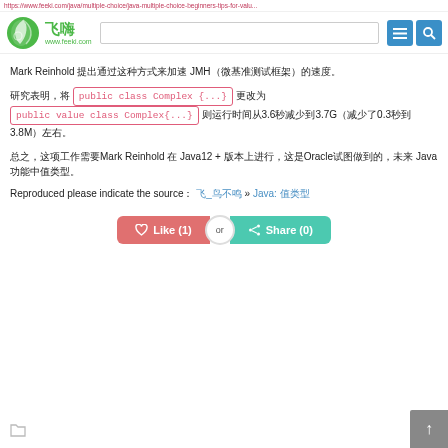https://www.feeki.com/java/multiple-choice/java-multiple-choice-beginners
[Figure (logo): Feeki website logo with green leaf circle and Chinese characters 飞嗨, www.feeki.com]
Mark Reinhold 提出通过这种方式来加速 JMH（微基准测试框架）的速度。
研究表明，将 public class Complex {...} 更改为 public value class Complex{...} 则运行时间从3.6秒减少到3.7G（减少了0.3秒到3.8M）左右。
总之，这项工作需要Mark Reinhold 在 Java12 + 版本上进行，这是Oracle试图做到的，未来 Java 功能中值类型
Reproduced please indicate the source： 飞_鸟不鸣 » Java: 值类型
[Figure (infographic): Like (1) or Share (0) buttons row]
[Figure (infographic): Tag icon and scroll-to-top button]